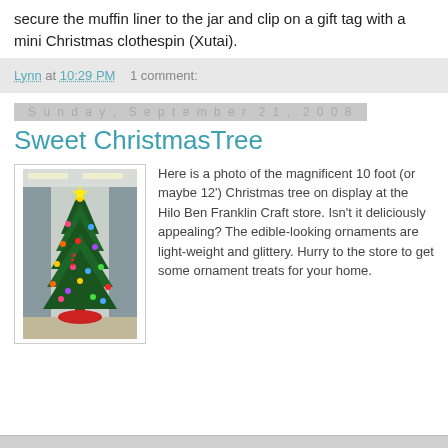secure the muffin liner to the jar and clip on a gift tag with a mini Christmas clothespin (Xutai).
Lynn at 10:29 PM    1 comment:
Sunday, September 21, 2008
Sweet ChristmasTree
[Figure (photo): A tall decorated Christmas tree (approximately 10-12 feet) on display at the Hilo Ben Franklin Craft store, adorned with colorful edible-looking ornaments and glittery decorations, with a red tree skirt at the base.]
Here is a photo of the magnificent 10 foot (or maybe 12') Christmas tree on display at the Hilo Ben Franklin Craft store. Isn't it deliciously appealing? The edible-looking ornaments are light-weight and glittery. Hurry to the store to get some ornament treats for your home.